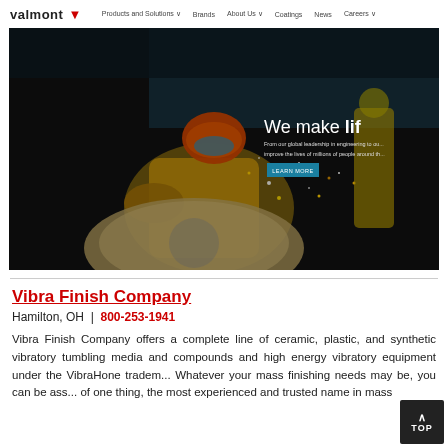valmont | Products and Solutions | Brands | About Us | Coatings | News | Careers
[Figure (photo): Industrial worker in yellow protective gear and orange helmet working with sparks flying around large metal equipment. Overlay text reads 'We make lif' (cropped). Subtext about global leadership in engineering. 'LEARN MORE' button visible.]
Vibra Finish Company
Hamilton, OH  |  800-253-1941
Vibra Finish Company offers a complete line of ceramic, plastic, and synthetic vibratory tumbling media and compounds and high energy vibratory equipment under the VibraHone tradem... Whatever your mass finishing needs may be, you can be ass... of one thing, the most experienced and trusted name in mass